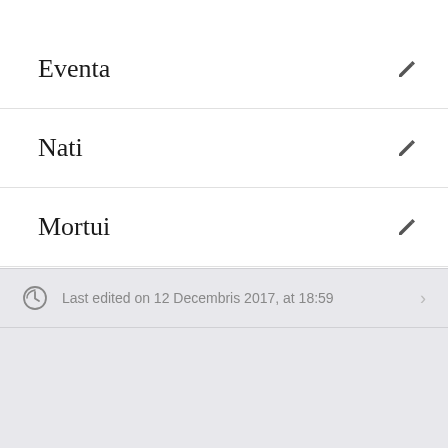Eventa
Nati
Mortui
Last edited on 12 Decembris 2017, at 18:59